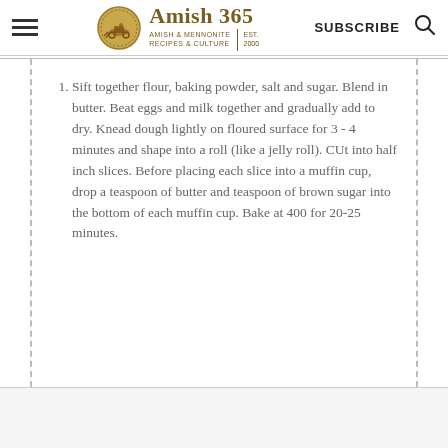Amish 365 — AMISH & MENNONITE RECIPES & CULTURE | EST. 2000 | SUBSCRIBE
Sift together flour, baking powder, salt and sugar. Blend in butter. Beat eggs and milk together and gradually add to dry. Knead dough lightly on floured surface for 3 - 4 minutes and shape into a roll (like a jelly roll). CUt into half inch slices. Before placing each slice into a muffin cup, drop a teaspoon of butter and teaspoon of brown sugar into the bottom of each muffin cup. Bake at 400 for 20-25 minutes.